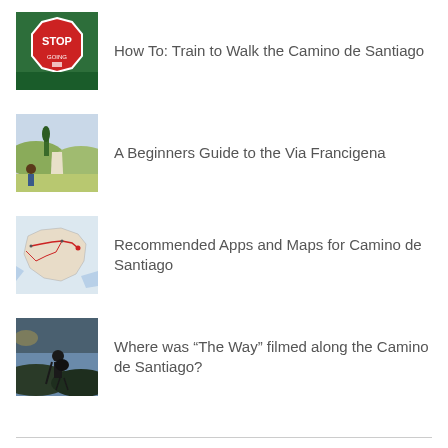[Figure (photo): Red stop sign with 'GOING' text, pilgrim-themed]
How To: Train to Walk the Camino de Santiago
[Figure (photo): Scenic Italian countryside road with cypress trees and rolling hills]
A Beginners Guide to the Via Francigena
[Figure (map): Map of Spain showing Camino de Santiago routes]
Recommended Apps and Maps for Camino de Santiago
[Figure (photo): Pilgrim with backpack and walking stick on Camino de Santiago at dusk]
Where was “The Way” filmed along the Camino de Santiago?